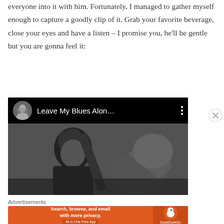everyone into it with him. Fortunately, I managed to gather myself enough to capture a goodly clip of it. Grab your favorite beverage, close your eyes and have a listen – I promise you, he'll be gentle but you are gonna feel it:
[Figure (screenshot): A music player/video thumbnail showing a YouTube-style player header with a circular avatar of a blonde woman, the title 'Leave My Blues Alon...' in white text on black background with a three-dot menu icon, and below it a black-and-white photo thumbnail of a man with curly hair playing guitar.]
Advertisements
[Figure (screenshot): DuckDuckGo advertisement banner. Orange background with white bold text: 'Search, browse, and email with more privacy.' and 'All in One Free App' button. Right side shows DuckDuckGo duck logo on darker orange background.]